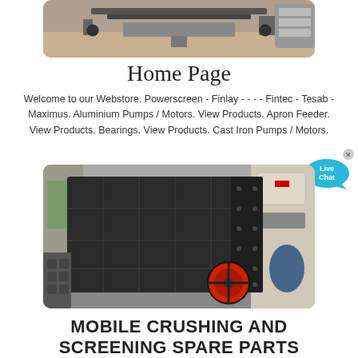[Figure (photo): Top partial photo of industrial machinery or conveyor belt equipment at a construction or mining site, with sandy/dirt background]
Home Page
Welcome to our Webstore. Powerscreen - Finlay - - - - Fintec - Tesab - Maximus. Aluminium Pumps / Motors. View Products. Apron Feeder. View Products. Bearings. View Products. Cast Iron Pumps / Motors.
[Figure (photo): Large black industrial impact crusher machine with red flywheel, photographed in a warehouse or factory setting with electrical panels visible in the background]
MOBILE CRUSHING AND SCREENING SPARE PARTS